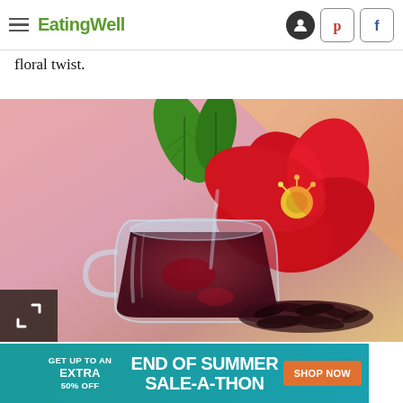EatingWell
floral twist.
[Figure (photo): A glass cup of dark red hibiscus tea, a large red hibiscus flower, green leaves, and dried hibiscus petals on a pink/peach gradient background]
[Figure (infographic): Advertisement banner: GET UP TO AN EXTRA 50% OFF — END OF SUMMER SALE-A-THON — SHOP NOW button]